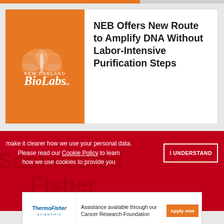[Figure (logo): New England BioLabs Inc. logo on orange background with butterfly graphic]
NEB Offers New Route to Amplify DNA Without Labor-Intensive Purification Steps
make it clearer how we use your personal data. Please read our Cookie Policy to learn how we use cookies to provide you
[Figure (logo): Thermo Fisher Scientific logo]
Assistance available through our Cancer Research Foundation
Apply now
ADVERTISEMENT